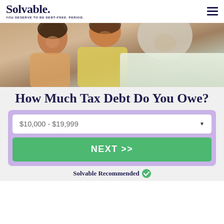Solvable. YOU DESERVE TO BE DEBT-FREE. PERIOD.
[Figure (photo): Photo of a family smiling, partially cropped showing adults and children from behind/side]
How Much Tax Debt Do You Owe?
[Figure (screenshot): Interactive widget with a dropdown showing '$10,000 - $19,999' and a green NEXT >> button]
Solvable Recommended